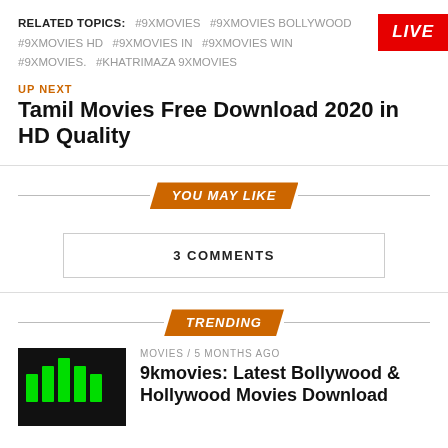RELATED TOPICS: #9XMOVIES #9XMOVIES BOLLYWOOD #9XMOVIES HD #9XMOVIES IN #9XMOVIES WIN #9XMOVIES. #KHATRIMAZA 9XMOVIES
LIVE
UP NEXT
Tamil Movies Free Download 2020 in HD Quality
YOU MAY LIKE
3 COMMENTS
TRENDING
[Figure (photo): Black thumbnail image with green bar chart icon]
MOVIES / 5 months ago
9kmovies: Latest Bollywood & Hollywood Movies Download